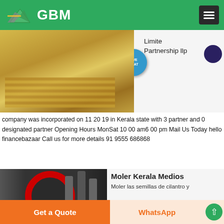GBM
[Figure (photo): GBM logo with green mountain and white text on green header bar]
[Figure (photo): Industrial machinery photo with yellow/gold equipment, partial view. Overlaid text on right side showing: Limited Partnership llp]
company was incorporated on 11 20 19 in Kerala state with 3 partner and 0 designated partner Opening Hours MonSat 10 00 am6 00 pm Mail Us Today hello financebazaar Call us for more details 91 9555 686868
Chatear en línea
[Figure (photo): Industrial cone crusher or mill machine with red circular ring, dark metal components]
Moler Kerala Medios
Moler las semillas de cilantro y
Get a Quote   WhatsApp